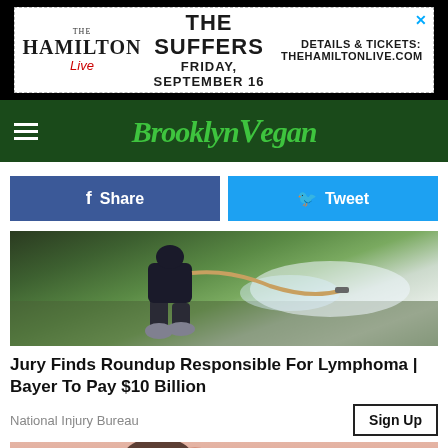[Figure (screenshot): Hamilton Live advertisement banner: The Suffers, Friday September 16, details at thehamiltonlive.com]
Brooklyn Vegan
[Figure (photo): Person in rubber boots spraying pesticide on a flooded field with a hose sprayer]
Share
Tweet
Jury Finds Roundup Responsible For Lymphoma | Bayer To Pay $10 Billion
National Injury Bureau
[Figure (photo): Woman touching her chest, wearing a pink textured sweater]